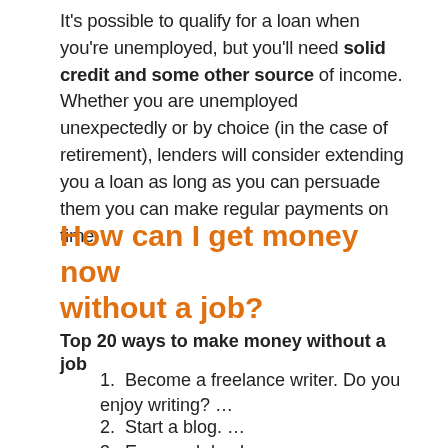It's possible to qualify for a loan when you're unemployed, but you'll need solid credit and some other source of income. Whether you are unemployed unexpectedly or by choice (in the case of retirement), lenders will consider extending you a loan as long as you can persuade them you can make regular payments on time.
How can I get money now without a job?
Top 20 ways to make money without a job
1. Become a freelance writer. Do you enjoy writing? …
2. Start a blog. …
3. Earn cash back…